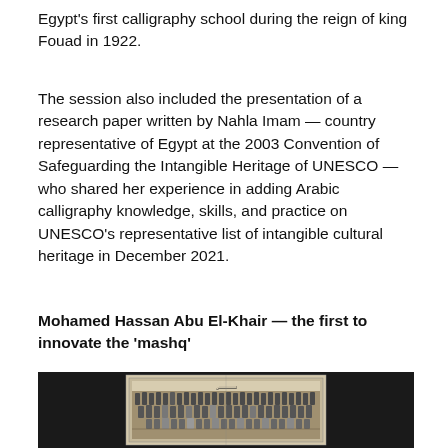Egypt's first calligraphy school during the reign of king Fouad in 1922.
The session also included the presentation of a research paper written by Nahla Imam — country representative of Egypt at the 2003 Convention of Safeguarding the Intangible Heritage of UNESCO — who shared her experience in adding Arabic calligraphy knowledge, skills, and practice on UNESCO's representative list of intangible cultural heritage in December 2021.
Mohamed Hassan Abu El-Khair — the first to innovate the 'mashq'
[Figure (photo): A black-and-white group photograph displayed in a frame, shown against a dark background. The photo appears to show a large group of people arranged in rows, likely a class or institutional photograph with Arabic text visible at the top of the framed photo.]